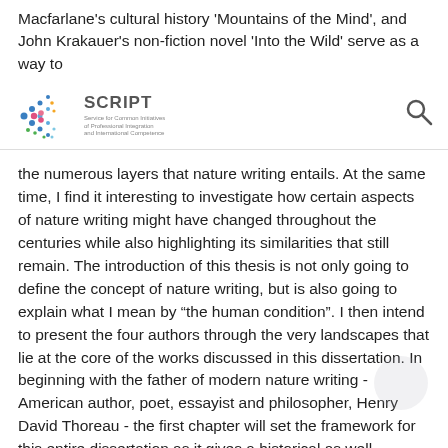Macfarlane's cultural history 'Mountains of the Mind', and John Krakauer's non-fiction novel 'Into the Wild' serve as a way to
SCRIPT logo and search icon header bar
the numerous layers that nature writing entails. At the same time, I find it interesting to investigate how certain aspects of nature writing might have changed throughout the centuries while also highlighting its similarities that still remain. The introduction of this thesis is not only going to define the concept of nature writing, but is also going to explain what I mean by “the human condition”. I then intend to present the four authors through the very landscapes that lie at the core of the works discussed in this dissertation. In beginning with the father of modern nature writing - American author, poet, essayist and philosopher, Henry David Thoreau - the first chapter will set the framework for this entire dissertation as it gives a historical as well philosophical background to Thoreau’s transcendentalist ideas and writings. Thoreau’s ideas are going to be explored in the chapter